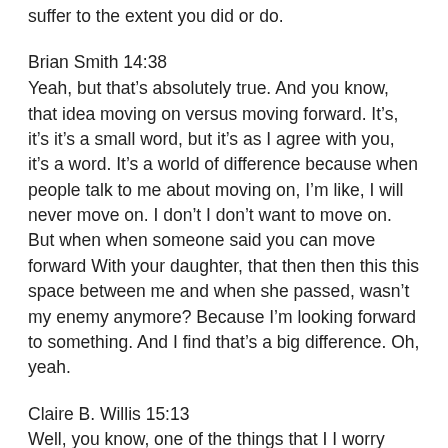suffer to the extent you did or do.
Brian Smith 14:38
Yeah, but that's absolutely true. And you know, that idea moving on versus moving forward. It's, it's it's a small word, but it's as I agree with you, it's a word. It's a world of difference because when people talk to me about moving on, I'm like, I will never move on. I don't I don't want to move on. But when when someone said you can move forward With your daughter, that then then this this space between me and when she passed, wasn't my enemy anymore? Because I'm looking forward to something. And I find that's a big difference. Oh, yeah.
Claire B. Willis 15:13
Well, you know, one of the things that I I worry about sometimes, and I'm sure you've seen this happen is that somehow moving forward, suggests moving